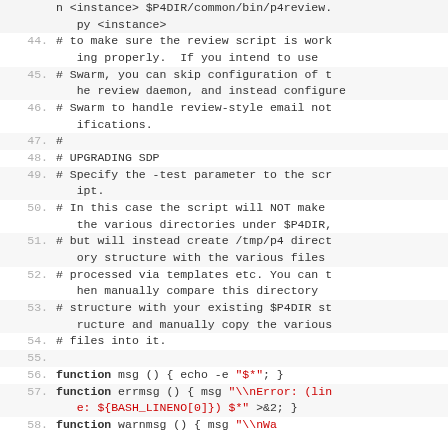Code listing lines 43-58 (partial): shell script comments and function definitions for SDP review setup and upgrade instructions.